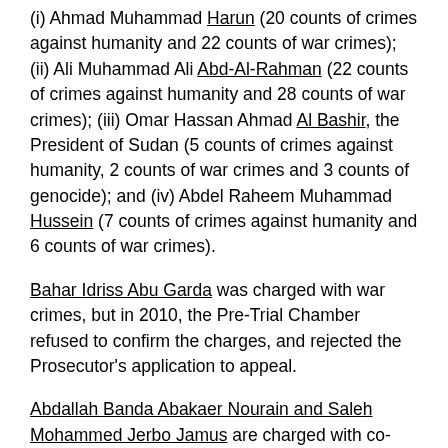(i) Ahmad Muhammad Harun (20 counts of crimes against humanity and 22 counts of war crimes); (ii) Ali Muhammad Ali Abd-Al-Rahman (22 counts of crimes against humanity and 28 counts of war crimes); (iii) Omar Hassan Ahmad Al Bashir, the President of Sudan (5 counts of crimes against humanity, 2 counts of war crimes and 3 counts of genocide); and (iv) Abdel Raheem Muhammad Hussein (7 counts of crimes against humanity and 6 counts of war crimes).
Bahar Idriss Abu Garda was charged with war crimes, but in 2010, the Pre-Trial Chamber refused to confirm the charges, and rejected the Prosecutor's application to appeal.
Abdallah Banda Abakaer Nourain and Saleh Mohammed Jerbo Jamus are charged with co-commission of three war crimes. Their trial is scheduled to start on May 5, 2014.
In the latest (December 2012) semi-annual report to the